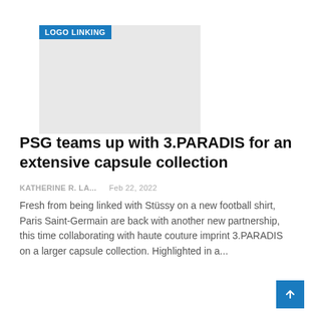[Figure (logo): Logo linking placeholder image with blue label 'LOGO LINKING']
PSG teams up with 3.PARADIS for an extensive capsule collection
KATHERINE R. LA...    Feb 22, 2022
Fresh from being linked with Stüssy on a new football shirt, Paris Saint-Germain are back with another new partnership, this time collaborating with haute couture imprint 3.PARADIS on a larger capsule collection. Highlighted in a...
[Figure (logo): Site logo placeholder image with blue label 'SITE LOGO']